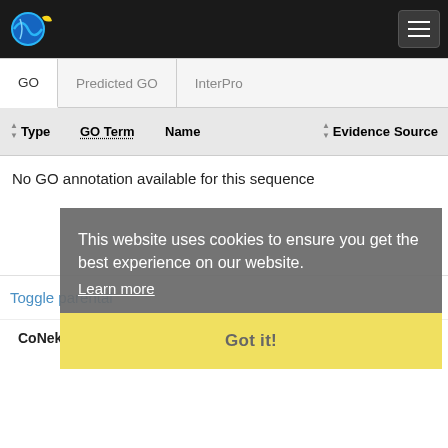CoNekT website navigation bar with logo and menu button
| GO | Predicted GO | InterPro |
| --- | --- | --- |
| Type GO Term Name | Evidence Source |
| --- | --- |
| No GO annotation available for this sequence |  |
This website uses cookies to ensure you get the best experience on our website. Learn more
Got it!
Toggle parental
CoNekT  About  Contact  Disclaimer  Privacy policy